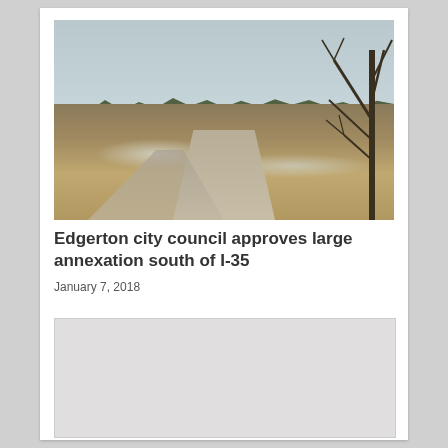[Figure (photo): Photograph of a rural dirt road intersection or crossing in a field, with light snow on the ground, dry winter grass, bare trees in the background against an overcast sky, and a single bare tree on the right side.]
Edgerton city council approves large annexation south of I-35
January 7, 2018
[Figure (photo): Partially visible second image, appears to be a gray/light colored image, content not fully visible.]